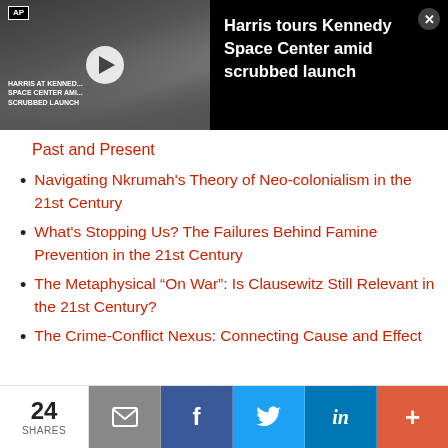[Figure (screenshot): AP video thumbnail showing 'Harris at Kennedy Space Center amid scrubbed launch' with a play button overlay, alongside black panel with video title text and close button]
Past and Present
Navigating Nkrumah's Theory of Neo-colonialism in the 21st Century
What's Stopping Us? The Failures Behind Famine Prevention in the 21st Century
The Metaphysical “On War”: Is Clausewitz Still Relevant in the 21st Century?
The Crime-Conflict Nexus: Connecting Cause and Effect
24 SHARES | Email | Facebook | Twitter | LinkedIn | More